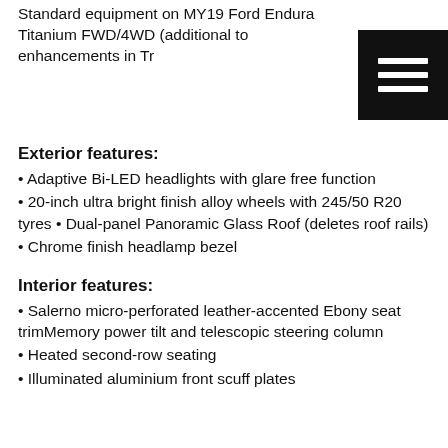Standard equipment on MY19 Ford Endura Titanium FWD/4WD (additional to enhancements in Tr…
[Figure (other): Black hamburger menu icon button with three white horizontal lines on dark background]
Exterior features:
• Adaptive Bi-LED headlights with glare free function
• 20-inch ultra bright finish alloy wheels with 245/50 R20 tyres • Dual-panel Panoramic Glass Roof (deletes roof rails)
• Chrome finish headlamp bezel
Interior features:
• Salerno micro-perforated leather-accented Ebony seat trimMemory power tilt and telescopic steering column
• Heated second-row seating
• Illuminated aluminium front scuff plates